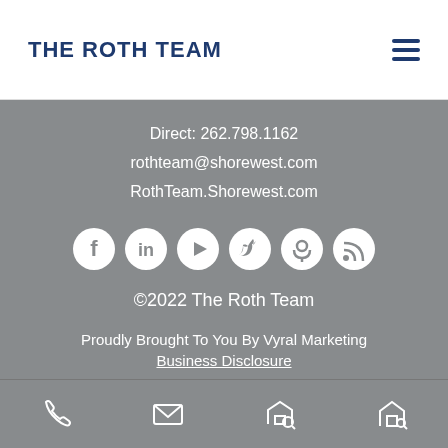THE ROTH TEAM
Direct: 262.798.1162
rothteam@shorewest.com
RothTeam.Shorewest.com
[Figure (infographic): Social media icons row: Facebook, LinkedIn, YouTube, Twitter, Podcast, RSS feed — white circles on gray background]
©2022 The Roth Team
Proudly Brought To You By Vyral Marketing
Business Disclosure
[Figure (logo): Vyral Marketing logo — white V in a speech bubble circle]
Phone | Email | Search Listings | Home